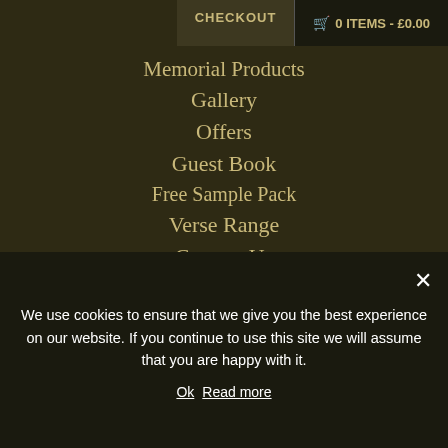CHECKOUT | 🛒 0 ITEMS - £0.00
Memorial Products
Gallery
Offers
Guest Book
Free Sample Pack
Verse Range
Contact Us
Useful Links
Observer Article
Privacy Policy
Copyright © 2020 Memorare Memoriam Cards
Website by Dropkick Design Glasgow
We use cookies to ensure that we give you the best experience on our website. If you continue to use this site we will assume that you are happy with it.
Ok | Read more